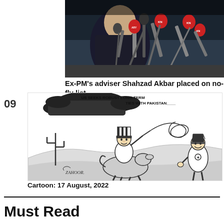[Figure (photo): Press conference photo showing a man in dark clothing at a podium surrounded by multiple microphones from various news channels including KN and ARY news.]
Ex-PM's adviser Shahzad Akbar placed on no-fly list
[Figure (illustration): Political cartoon by Zahoor dated 17 August 2022. Caption reads 'US SEEKS ROBUST LONG-TERM TIES WITH PAKISTAN'. Shows Uncle Sam figure on a horse swinging a lasso toward a Pakistani figure on the right, with a cactus on the left and dark clouds above.]
Cartoon: 17 August, 2022
Must Read